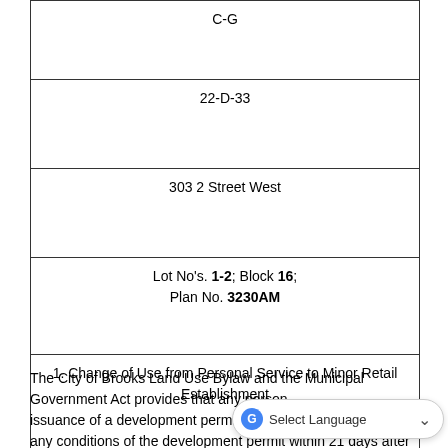| C-G |
| 22-D-33 |
| 303 2 Street West |
| Lot No's. 1-2; Block 16;
Plan No. 3230AM |
| 1. Change of Use from Personal Service to Minor Retail Establishment |
| C-G |
The City of Brooks Land Use Bylaw and the Municipal Government Act provides that any person issuance of a development permit may appeal the decision or any conditions of the development permit within 21 days after